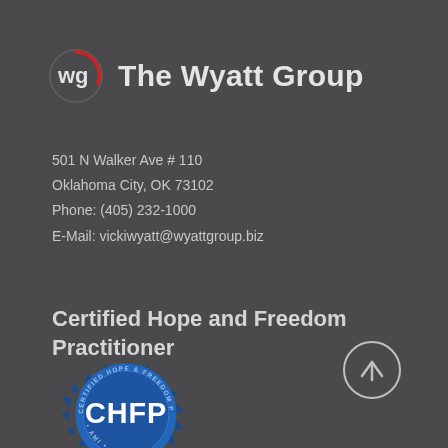[Figure (logo): The Wyatt Group logo: 'wg' letters inside a circular arc with red partial circle, followed by bold text 'The Wyatt Group']
501 N Walker Ave # 110
Oklahoma City, OK 73102
Phone: (405) 232-1000
E-Mail: vickiwyatt@wyattgroup.biz
Certified Hope and Freedom Practitioner
[Figure (illustration): Blue seal/badge for Certified Hope and Freedom Practitioner (CHFP) with sunburst edges and text around the border reading 'CERTIFIED HOPE & FREEDOM PRACTITIONER' and 'AMI' at bottom]
[Figure (other): Circular arrow-up button/icon in white outline on dark background, bottom right corner]